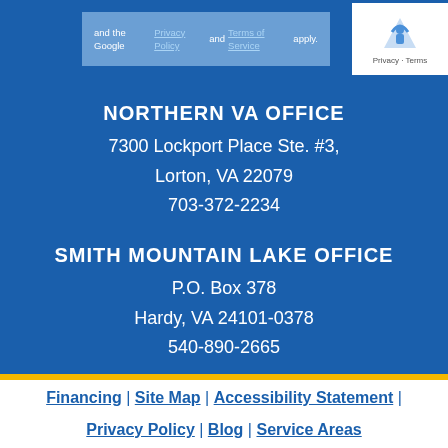[Figure (screenshot): Google reCAPTCHA widget top bar with privacy policy and terms of service text]
NORTHERN VA OFFICE
7300 Lockport Place Ste. #3,
Lorton, VA 22079
703-372-2234
SMITH MOUNTAIN LAKE OFFICE
P.O. Box 378
Hardy, VA 24101-0378
540-890-2665
Financing | Site Map | Accessibility Statement | Privacy Policy | Blog | Service Areas
[Figure (screenshot): Mobile navigation bar with MENU, REVIEWS, call button, CONTACT, and ABOUT icons]